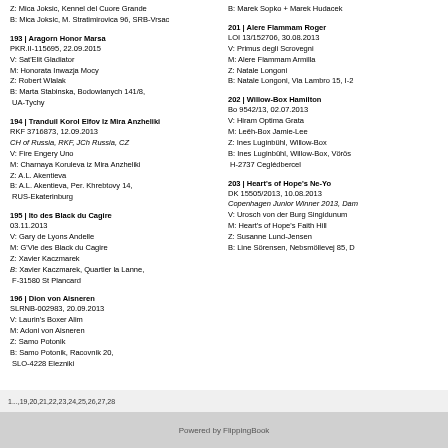Z: Mica Joksic, Kennel del Cuore Grande
B: Mica Joksic, M. Stratimirovica 96, SRB-Vrsac
193 | Aragorn Honor Marsa
PKR.II-115695, 22.09.2015
V: Sat'Elit Gladiator
M: Honorata Inwazja Mocy
Z: Robert Wlalak
B: Marta Stabinska, Bodowlanych 141/8, UA-Tychy
194 | Tranduil Korol Elfov Iz Mira Anzheliki
RKF 3716873, 12.09.2013
CH of Russia, RKF, JCh Russia, CZ
V: Fire Engery Uno
M: Charnaya Koruleva iz Mira Anzheliki
Z: A.L. Akentieva
B: A.L. Akentieva, Per. Khrebtovy 14, RUS-Ekaterinburg
195 | Ito des Black du Cagire
03.11.2013
V: Gary de Lyons Andelle
M: G'Vie des Black du Cagire
Z: Xavier Kaczmarek
B: Xavier Kaczmarek, Quartier la Lanne, F-31580 St Plancard
196 | Dion von Aisneren
SLRNB-002983, 20.09.2013
V: Laurin's Boxer Alim
M: Adoni von Aisneren
Z: Samo Potonik
B: Samo Potonik, Racovnik 20, SLO-4228 Elezniki
B: Marek Sopko + Marek Hudacek
201 | Alere Flammam Roger
LOI 13/152706, 30.08.2013
V: Primus degli Scrovegni
M: Alere Flammam Armilla
Z: Natale Longoni
B: Natale Longoni, Via Lambro 15, I-2
202 | Willow-Box Hamilton
Bo 9542/13, 02.07.2013
V: Hiram Optima Grata
M: Leëh-Box Jamie-Lee
Z: Ines Luginbühl, Willow-Box
B: Ines Luginbühl, Willow-Box, Vörös H-2737 Ceglédbercel
203 | Heart's of Hope's Ne-Yo
DK 15505/2013, 10.08.2013
Copenhagen Junior Winner 2013, Dam
V: Urosch von der Burg Singidunum
M: Heart's of Hope's Faith Hill
Z: Susanne Lund-Jensen
B: Line Sörensen, Nebsmöllevej 85, D
1...,19,20,21,22,23,24,25,26,27,28
Powered by FlippingBook